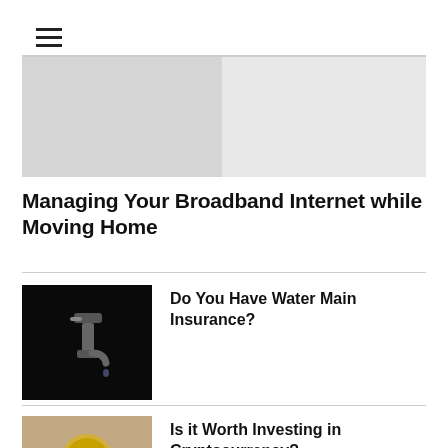[Figure (other): Hamburger menu icon with three horizontal lines]
[Figure (photo): Partially visible banner image at the top, gray background with faint content]
Managing Your Broadband Internet while Moving Home
[Figure (photo): Dark photo of a water faucet dripping against black background]
Do You Have Water Main Insurance?
[Figure (photo): Hands holding a gold Bitcoin coin]
Is it Worth Investing in Cryptocurrency?